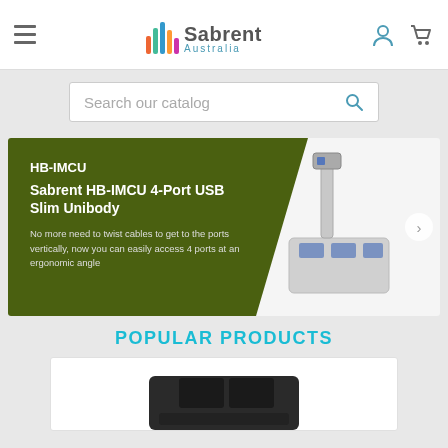[Figure (logo): Sabrent Australia logo with colorful bars and text]
Search our catalog
[Figure (illustration): Promotional banner for HB-IMCU product: dark olive green background, text reads 'HB-IMCU', 'Sabrent HB-IMCU 4-Port USB Slim Unibody', 'No more need to twist cables to get to the ports vertically, now you can easily access 4 ports at an ergonomic angle'. Image of silver USB hub on right side.]
POPULAR PRODUCTS
[Figure (photo): Partial product image showing black docking station hardware at bottom]